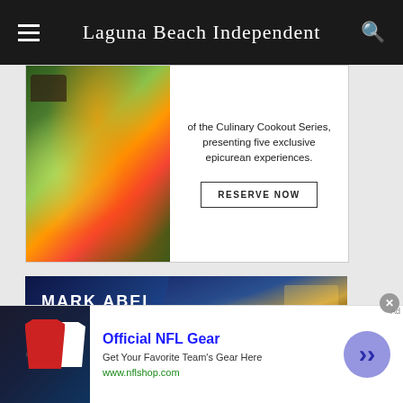Laguna Beach Independent
[Figure (photo): Advertisement showing grilled food items including colorful vegetables on banana leaves with a mortar and pestle, part of a Culinary Cookout Series promotion with text: 'of the Culinary Cookout Series, presenting five exclusive epicurean experiences.' and a RESERVE NOW button]
[Figure (photo): Mark Abel Architect advertisement showing a modern oceanfront house at dusk with blue sky background, text: 'MARK ABEL architect' and phone number '949-813-8058', with thumbnail photos of additional properties at bottom]
[Figure (photo): NFL Shop advertisement overlay showing football jerseys with text 'Official NFL Gear', 'Get Your Favorite Team's Gear Here', 'www.nflshop.com', with a close button (X) and forward arrow button]